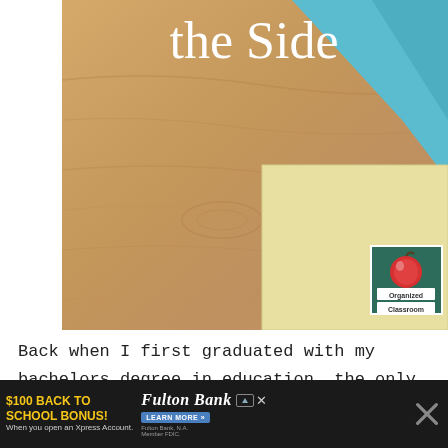[Figure (photo): Photo of a wooden desk surface with a light blue folder and a yellow folder/book. A sticker on the yellow folder shows a red apple graphic with text 'Organized Classroom'. White text overlay reads 'the Side' at the top.]
Back when I first graduated with my bachelors degree in education, the only work I could find right away was as a substitute teacher.
[Figure (screenshot): Advertisement bar at the bottom. Yellow text: '$100 BACK TO SCHOOL BONUS!' with gray subtext 'When you open an Xpress Account.' Fulton Bank logo with 'LEARN MORE' button. Sponsored icon. Close X button on right side.]